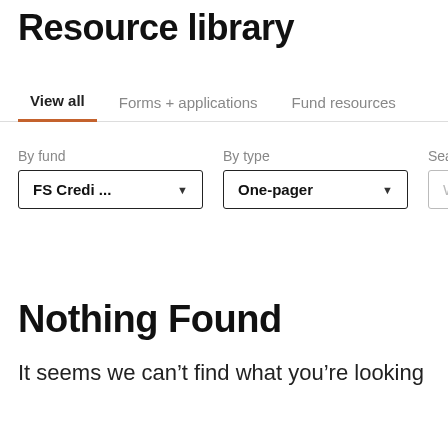Resource library
View all	Forms + applications	Fund resources
By fund	By type	Search resources
FS Credi ...	One-pager	What are you lo
Nothing Found
It seems we can't find what you're looking